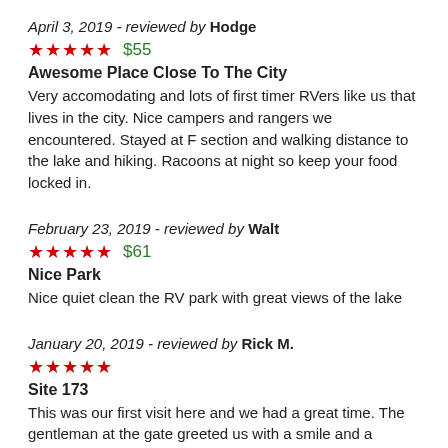April 3, 2019 - reviewed by Hodge
★★★★★  $55
Awesome Place Close To The City
Very accomodating and lots of first timer RVers like us that lives in the city. Nice campers and rangers we encountered. Stayed at F section and walking distance to the lake and hiking. Racoons at night so keep your food locked in.
February 23, 2019 - reviewed by Walt
★★★★★  $61
Nice Park
Nice quiet clean the RV park with great views of the lake
January 20, 2019 - reviewed by Rick M.
★★★★★
Site 173
This was our first visit here and we had a great time. The gentleman at the gate greeted us with a smile and a welcome. The check in person was nice and informative. We stayed at site 173. It was level and has a great view of the mountains and airport. 173 is in section B so we were able to use our own above ground fire pit. We had some friends stop by